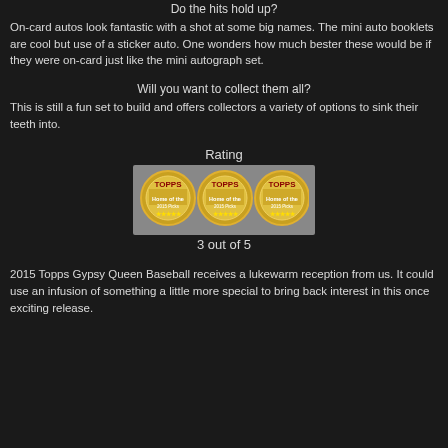Do the hits hold up?
On-card autos look fantastic with a shot at some big names.  The mini auto booklets are cool but use of a sticker auto. One wonders how much bester these would be if they were on-card just like the mini autograph set.
Will you want to collect them all?
This is still a fun set to build and offers collectors a variety of options to sink their teeth into.
Rating
[Figure (other): Rating graphic showing 3 out of 5 coin/medal icons in a grey bar]
3 out of 5
2015 Topps Gypsy Queen Baseball receives a lukewarm reception from us. It could use an infusion of something a little more special to bring back interest in this once exciting release.